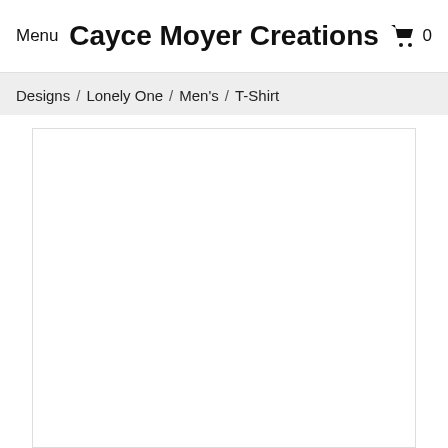Menu  Cayce Moyer Creations  0
Designs / Lonely One / Men's / T-Shirt
[Figure (other): White content area / product image placeholder with a thin border]